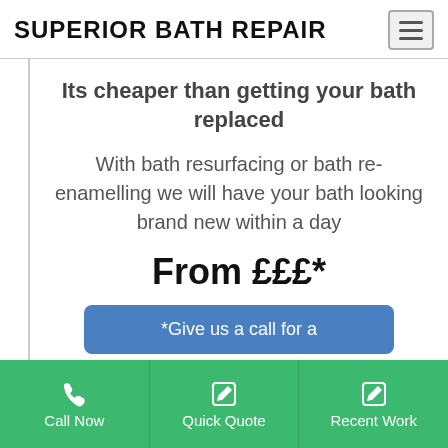SUPERIOR BATH REPAIR
Its cheaper than getting your bath replaced
With bath resurfacing or bath re-enamelling we will have your bath looking brand new within a day
From £££*
*Give us a call for a
Call Now
Quick Quote
Recent Work